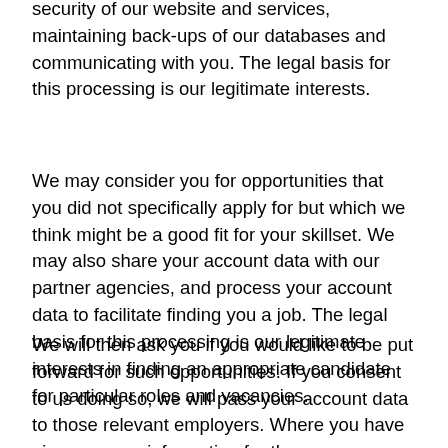security of our website and services, maintaining back-ups of our databases and communicating with you. The legal basis for this processing is our legitimate interests.
We may consider you for opportunities that you did not specifically apply for but which we think might be a good fit for your skillset. We may also share your account data with our partner agencies, and process your account data to facilitate finding you a job. The legal basis for this processing is our legitimate interests in finding an appropriate candidate for particular roles and vacancies.
We will then ask you if you would like to be put forward for such opportunities. If you consent to us doing so, we will pass your account data to those relevant employers. Where you have given us your information for the purposes detailed above, we will enter the account data into our central recruitment database (“talent pool”). The